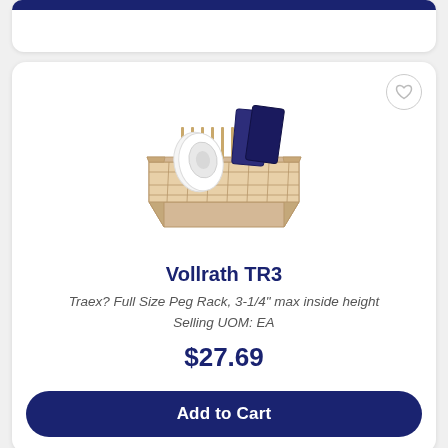[Figure (photo): Product image of Vollrath TR3 Traex Full Size Peg Rack - a beige/tan dishwasher rack with pegs holding plates and trays]
Vollrath TR3
Traex? Full Size Peg Rack, 3-1/4" max inside height
Selling UOM: EA
$27.69
Add to Cart